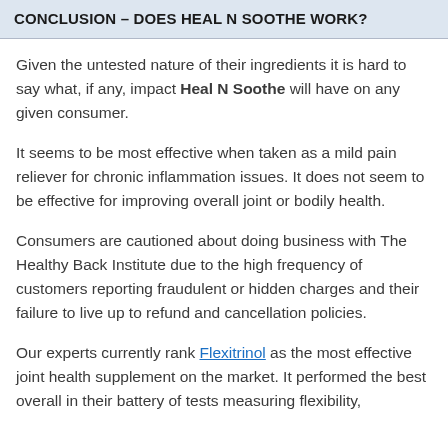CONCLUSION – DOES HEAL N SOOTHE WORK?
Given the untested nature of their ingredients it is hard to say what, if any, impact Heal N Soothe will have on any given consumer.
It seems to be most effective when taken as a mild pain reliever for chronic inflammation issues. It does not seem to be effective for improving overall joint or bodily health.
Consumers are cautioned about doing business with The Healthy Back Institute due to the high frequency of customers reporting fraudulent or hidden charges and their failure to live up to refund and cancellation policies.
Our experts currently rank Flexitrinol as the most effective joint health supplement on the market. It performed the best overall in their battery of tests measuring flexibility,